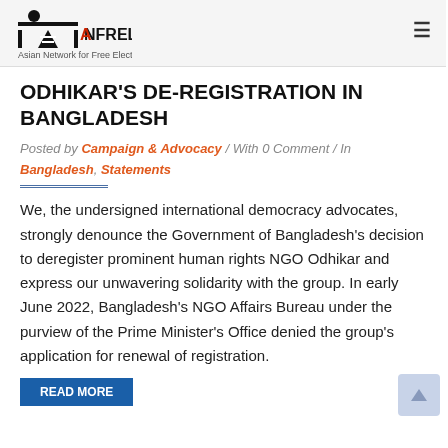ANFREL - Asian Network for Free Elections
ODHIKAR'S DE-REGISTRATION IN BANGLADESH
Posted by Campaign & Advocacy / With 0 Comment / In Bangladesh, Statements
We, the undersigned international democracy advocates, strongly denounce the Government of Bangladesh's decision to deregister prominent human rights NGO Odhikar and express our unwavering solidarity with the group. In early June 2022, Bangladesh's NGO Affairs Bureau under the purview of the Prime Minister's Office denied the group's application for renewal of registration.